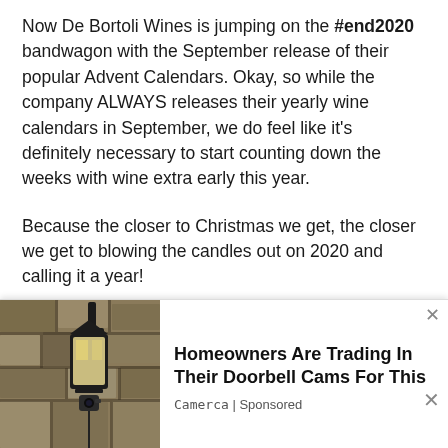Now De Bortoli Wines is jumping on the #end2020 bandwagon with the September release of their popular Advent Calendars. Okay, so while the company ALWAYS releases their yearly wine calendars in September, we do feel like it's definitely necessary to start counting down the weeks with wine extra early this year.
Because the closer to Christmas we get, the closer we get to blowing the candles out on 2020 and calling it a year!
What's a wine advent calendar anyway?
If you haven't heard of the De Bertoil Wine Advent
[Figure (photo): Photo of an outdoor wall-mounted lantern/light fixture on a stone wall, partially visible at bottom left of page, part of an advertisement overlay]
Homeowners Are Trading In Their Doorbell Cams For This
Camerca | Sponsored